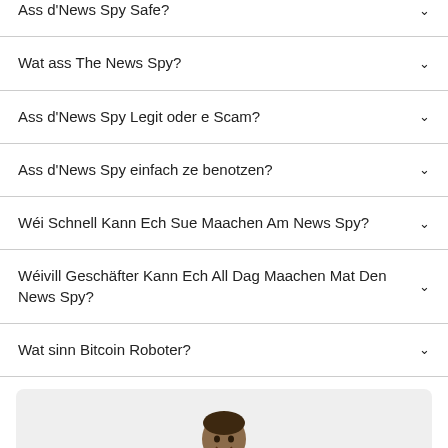Ass d'News Spy Safe?
Wat ass The News Spy?
Ass d'News Spy Legit oder e Scam?
Ass d'News Spy einfach ze benotzen?
Wéi Schnell Kann Ech Sue Maachen Am News Spy?
Wéivill Geschäfter Kann Ech All Dag Maachen Mat Den News Spy?
Wat sinn Bitcoin Roboter?
[Figure (photo): Photo of a person (head and shoulders visible) on a light gray background card.]